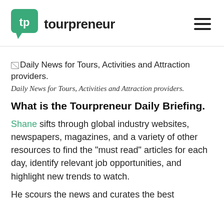[Figure (logo): Tourpreneur logo: green speech bubble with 'tp' in white, followed by bold text 'tourpreneur']
[Figure (other): Broken image placeholder: Daily News for Tours, Activities and Attraction providers.]
Daily News for Tours, Activities and Attraction providers.
What is the Tourpreneur Daily Briefing.
Shane sifts through global industry websites, newspapers, magazines, and a variety of other resources to find the "must read" articles for each day, identify relevant job opportunities, and highlight new trends to watch.
He scours the news and curates the best